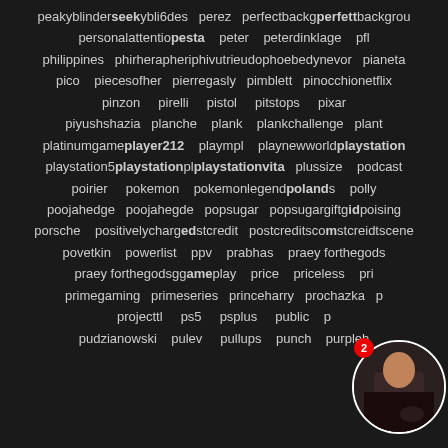peakyblinderseekybli6des perez perfectbackgperfettbackgrou personalattentiopesta peter peterdinklage pfl philippines phirherapheriphivutrieudophoebedynevor pianeta pico piecesofher pierregasly pimblett pinocchionetflix pinzon pirelli pistol pitstops pixar piyushshazia planche plank plankchallenge plant platinumgameplayer212 plaympl playnewworldplaystation playstation5playstationplplaystationvita plussize podcast poirier pokemon pokemonlegendpolands polly poojahedge poojahegde popsugar popsugargiftgidpoising porsche positivelychargedstcredit postcreditscomstcreidtscene povetkin powerlist ppv prabhas praey forthegods praey forthegodsggameplay price priceless pri primegaming primeseries princeharry prochazka p projecttl ps5 psplus public p pudzianowski pulev pullups punch purpleh
[Figure (photo): Circular avatar thumbnail of a person in dark clothing, with a red notification badge showing the number 2]